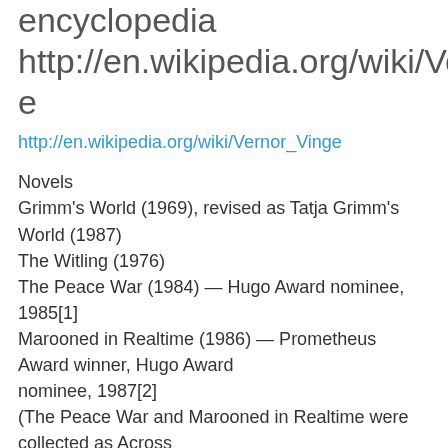encyclopedia http://en.wikipedia.org/wiki/Vernor_Vinge
http://en.wikipedia.org/wiki/Vernor_Vinge
Novels
Grimm's World (1969), revised as Tatja Grimm's World (1987)
The Witling (1976)
The Peace War (1984) — Hugo Award nominee, 1985[1]
Marooned in Realtime (1986) — Prometheus Award winner, Hugo Award nominee, 1987[2]
(The Peace War and Marooned in Realtime were collected as Across Realtime in 2000.)
Rainbows End ISBN 0-312-85684-9 (2006) — Hugo and Locus SF Awards winner, 2007;[7] Campbell Award nominee, 2007[7]
[edit]Zones of Thought series
A Fire Upon the Deep (1992) — Nebula Award nominee,